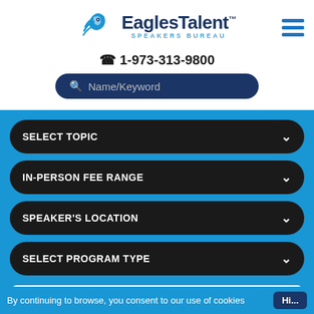[Figure (logo): EaglesTalent Speakers Bureau logo with eagle icon and text]
☎ 1-973-313-9800
Name/Keyword (search bar)
SELECT TOPIC
IN-PERSON FEE RANGE
SPEAKER'S LOCATION
SELECT PROGRAM TYPE
SEARCH RESULTS
By continuing to browse, you consent to our use of cookies